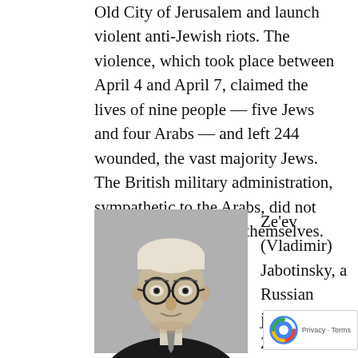Old City of Jerusalem and launch violent anti-Jewish riots. The violence, which took place between April 4 and April 7, claimed the lives of nine people — five Jews and four Arabs — and left 244 wounded, the vast majority Jews. The British military administration, sympathetic to the Arabs, did not allow the Jews to arm themselves.
[Figure (photo): Black and white portrait photograph of Ze'ev (Vladimir) Jabotinsky, a man wearing round glasses and a suit with tie, with a handwritten caption below.]
Ze'ev (Vladimir) Jabotinsky, a Russian journalist and Zionist activist, organized the defense of the Old City Jews with demobilized soldiers from the Jewish Legion who